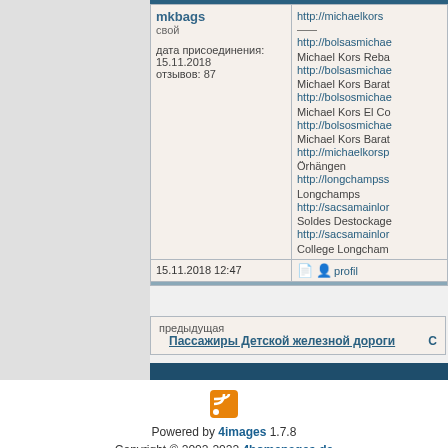| User | Post content |
| --- | --- |
| mkbags
свой

дата присоединения: 15.11.2018
отзывов: 87 | http://michaelkors...
...
http://bolsasmichae...
Michael Kors Reba...
http://bolsasmichae...
Michael Kors Barat...
http://bolsosmichae...
Michael Kors El Co...
http://bolsosmichae...
Michael Kors Barat...
http://michaelkorsp...
Örhängen
http://longchampss...
Longchamps
http://sacsamainlon...
Soldes Destockage...
http://sacsamainlo...
College Longcham... |
| 15.11.2018 12:47 | profil |
предыдущая
Пассажиры Детской железной дороги
[Figure (logo): RSS feed orange icon]
Powered by 4images 1.7.8
Copyright © 2002-2022 4homepages.de